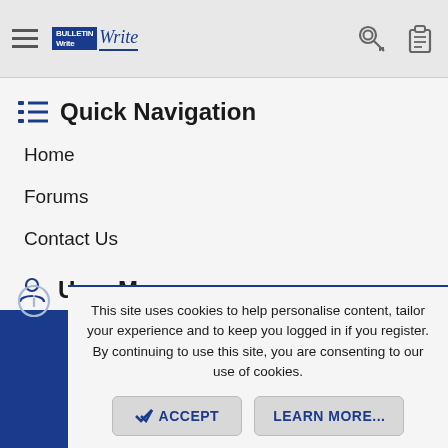Navigation bar with hamburger menu, BulletinWrite logo, key icon, clipboard icon
Quick Navigation
Home
Forums
Contact Us
User Menu
Login
This site uses cookies to help personalise content, tailor your experience and to keep you logged in if you register. By continuing to use this site, you are consenting to our use of cookies.
ACCEPT   LEARN MORE...